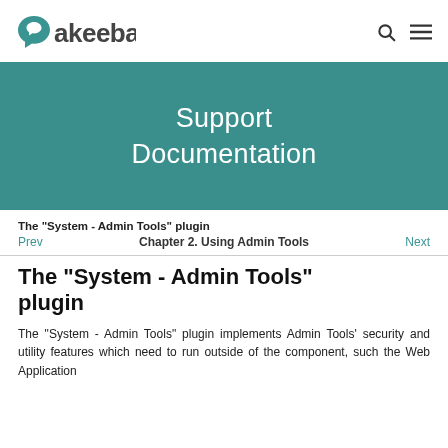akeeba [logo] search menu
[Figure (other): Teal/dark cyan banner with text 'Support Documentation' in white]
The "System - Admin Tools" plugin
Prev   Chapter 2. Using Admin Tools   Next
The "System - Admin Tools" plugin
The "System - Admin Tools" plugin implements Admin Tools' security and utility features which need to run outside of the component, such the Web Application